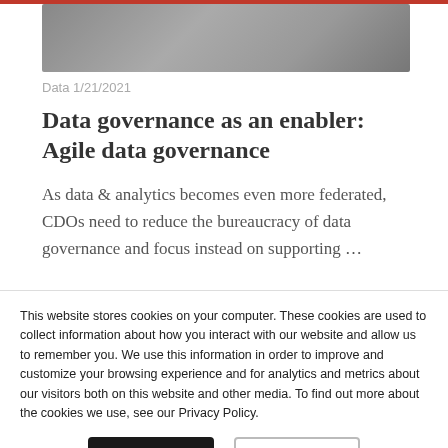[Figure (photo): Hero image showing a blurred background photo at the top of the article]
Data 1/21/2021
Data governance as an enabler: Agile data governance
As data & analytics becomes even more federated, CDOs need to reduce the bureaucracy of data governance and focus instead on supporting …
This website stores cookies on your computer. These cookies are used to collect information about how you interact with our website and allow us to remember you. We use this information in order to improve and customize your browsing experience and for analytics and metrics about our visitors both on this website and other media. To find out more about the cookies we use, see our Privacy Policy.